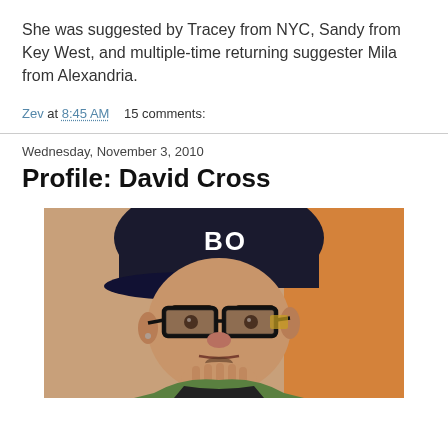She was suggested by Tracey from NYC, Sandy from Key West, and multiple-time returning suggester Mila from Alexandria.
Zev at 8:45 AM    15 comments:
Wednesday, November 3, 2010
Profile: David Cross
[Figure (photo): Photo of David Cross wearing a dark baseball cap with 'BO' visible on it and black-rimmed glasses, holding his hand to his chin, wearing a green shirt, looking at the camera]